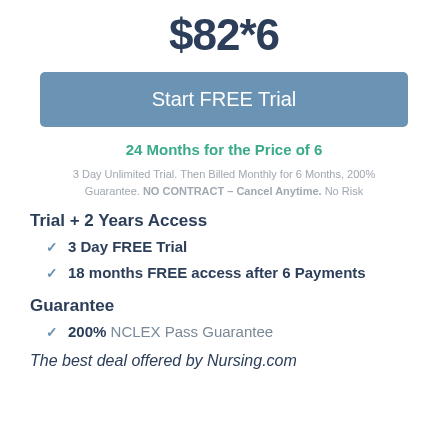$82*6
Start FREE Trial
24 Months for the Price of 6
3 Day Unlimited Trial. Then Billed Monthly for 6 Months, 200% Guarantee. NO CONTRACT – Cancel Anytime. No Risk
Trial + 2 Years Access
3 Day FREE Trial
18 months FREE access after 6 Payments
Guarantee
200% NCLEX Pass Guarantee
The best deal offered by Nursing.com